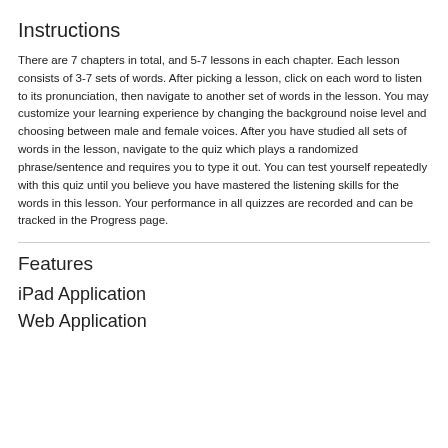Instructions
There are 7 chapters in total, and 5-7 lessons in each chapter. Each lesson consists of 3-7 sets of words. After picking a lesson, click on each word to listen to its pronunciation, then navigate to another set of words in the lesson. You may customize your learning experience by changing the background noise level and choosing between male and female voices. After you have studied all sets of words in the lesson, navigate to the quiz which plays a randomized phrase/sentence and requires you to type it out. You can test yourself repeatedly with this quiz until you believe you have mastered the listening skills for the words in this lesson. Your performance in all quizzes are recorded and can be tracked in the Progress page.
Features
iPad Application
Web Application